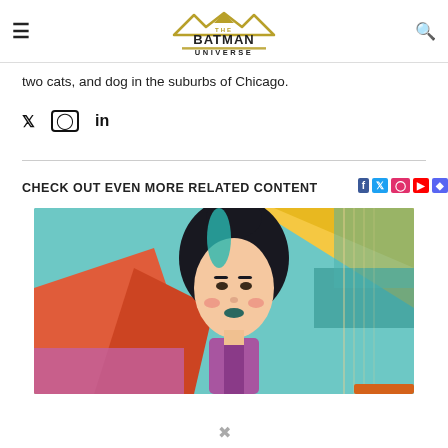THE BATMAN UNIVERSE
two cats, and dog in the suburbs of Chicago.
Social icons: Twitter, Instagram, LinkedIn
CHECK OUT EVEN MORE RELATED CONTENT
[Figure (illustration): Comic book style illustration of a female character with dark hair and teal highlights, in a colorful pop-art cityscape background with yellow, teal, red, and orange geometric shapes]